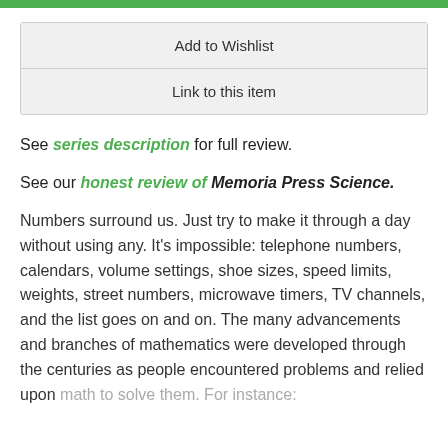Add to Wishlist
Link to this item
See series description for full review.
See our honest review of Memoria Press Science.
Numbers surround us. Just try to make it through a day without using any. It's impossible: telephone numbers, calendars, volume settings, shoe sizes, speed limits, weights, street numbers, microwave timers, TV channels, and the list goes on and on. The many advancements and branches of mathematics were developed through the centuries as people encountered problems and relied upon math to solve them. For instance: